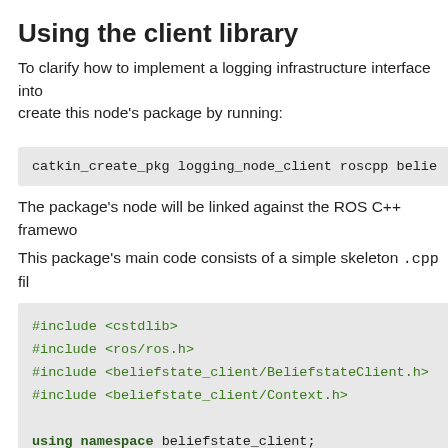Using the client library
To clarify how to implement a logging infrastructure interface into create this node's package by running:
catkin_create_pkg logging_node_client roscpp belie
The package's node will be linked against the ROS C++ framewo
This package's main code consists of a simple skeleton .cpp fil
#include <cstdlib>
#include <ros/ros.h>
#include <beliefstate_client/BeliefstateClient.h>
#include <beliefstate_client/Context.h>

using namespace beliefstate_client;


int main(int argc, char** argv) {
    ros::init(argc, argv, "logging_client");

    // Begin main code here.
    //